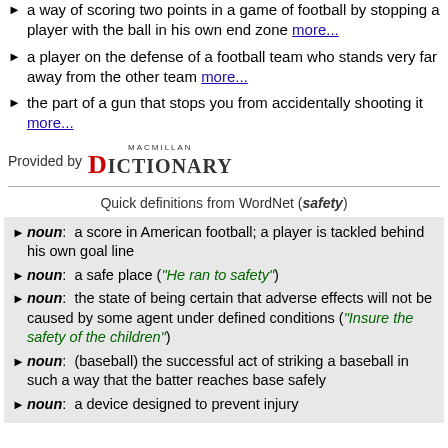a way of scoring two points in a game of football by stopping a player with the ball in his own end zone more...
a player on the defense of a football team who stands very far away from the other team more...
the part of a gun that stops you from accidentally shooting it more...
[Figure (logo): Provided by Macmillan Dictionary logo]
Quick definitions from WordNet (safety)
noun: a score in American football; a player is tackled behind his own goal line
noun: a safe place ("He ran to safety")
noun: the state of being certain that adverse effects will not be caused by some agent under defined conditions ("Insure the safety of the children")
noun: (baseball) the successful act of striking a baseball in such a way that the batter reaches base safely
noun: a device designed to prevent injury